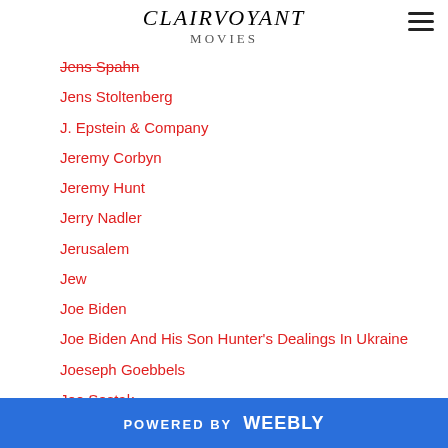CLAIRVOYANT
Jens Spahn
Jens Stoltenberg
J. Epstein & Company
Jeremy Corbyn
Jeremy Hunt
Jerry Nadler
Jerusalem
Jew
Joe Biden
Joe Biden And His Son Hunter's Dealings In Ukraine
Joeseph Goebbels
Joe Sestak
John Delaney
Johnson And Johnson
JPMorgan Chase
POWERED BY weebly